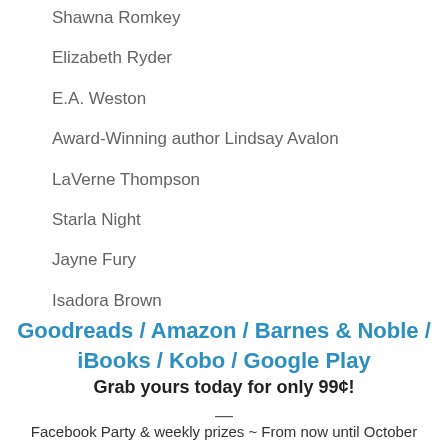Shawna Romkey
Elizabeth Ryder
E.A. Weston
Award-Winning author Lindsay Avalon
LaVerne Thompson
Starla Night
Jayne Fury
Isadora Brown
Goodreads / Amazon / Barnes & Noble / iBooks / Kobo / Google Play
Grab yours today for only 99¢!
—
Facebook Party & weekly prizes ~ From now until October